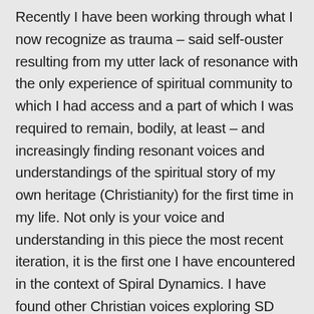Recently I have been working through what I now recognize as trauma – said self-ouster resulting from my utter lack of resonance with the only experience of spiritual community to which I had access and a part of which I was required to remain, bodily, at least – and increasingly finding resonant voices and understandings of the spiritual story of my own heritage (Christianity) for the first time in my life. Not only is your voice and understanding in this piece the most recent iteration, it is the first one I have encountered in the context of Spiral Dynamics. I have found other Christian voices exploring SD (Richard Rohr, The Liturgists, Rob Bell), but this post of yours appears embedded in